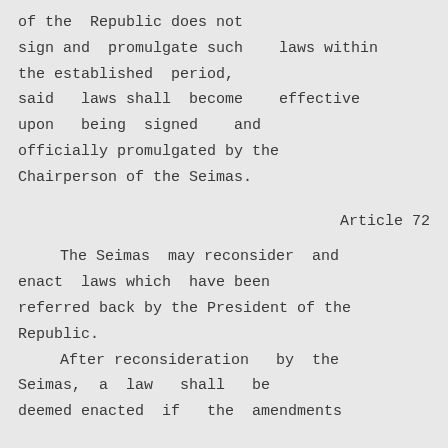of the Republic does not sign and promulgate such laws within the established period, said laws shall become effective upon being signed and officially promulgated by the Chairperson of the Seimas.
Article 72
The Seimas may reconsider and enact laws which have been referred back by the President of the Republic.
    After reconsideration by the Seimas, a law shall be deemed enacted if the amendments